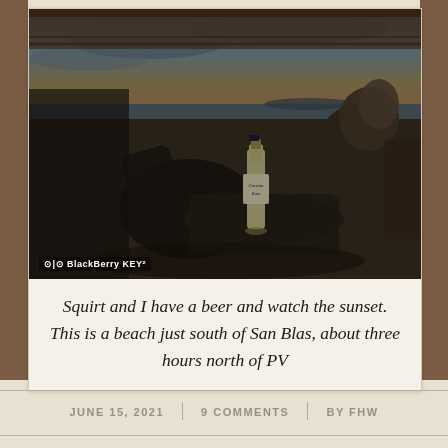[Figure (photo): Beach scene at sunset with chairs, a Corona beer bottle on a table, and a person sitting in the background under a thatched palapa. BlackBerry KEY2 watermark visible in bottom-left corner.]
Squirt and I have a beer and watch the sunset. This is a beach just south of San Blas, about three hours north of PV
JUNE 15, 2021 | 9 COMMENTS | BY FHW